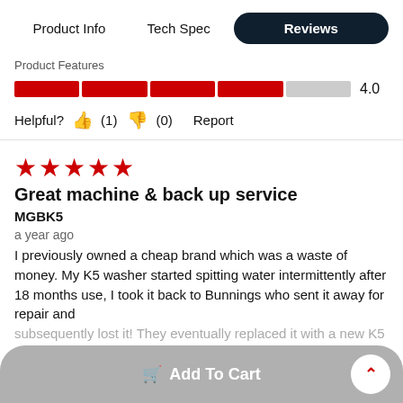Product Info | Tech Spec | Reviews
Product Features
[Figure (other): 4.0 out of 5 stars rating bar with 4 red segments and 1 grey segment]
Helpful? (1) (0) Report
[Figure (other): 5 red stars rating]
Great machine & back up service
MGBK5
a year ago
I previously owned a cheap brand which was a waste of money. My K5 washer started spitting water intermittently after 18 months use, I took it back to Bunnings who sent it away for repair and subsequently lost it! They eventually replaced it with a new K5